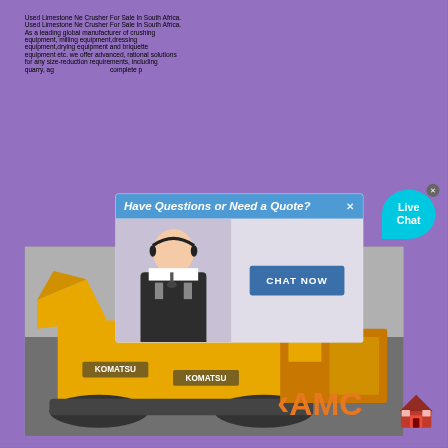Used Limestone Ne Crusher For Sale In South Africa. Used Limestone Ne Crusher For Sale In South Africa. As a leading global manufacturer of crushing equipment, milling equipment,dressing equipment,drying equipment and briquette equipment etc. we offer advanced, rational solutions for any size-reduction requirements, including quarry, ag... complete p...
[Figure (screenshot): Chat popup overlay with 'Have Questions or Need a Quote?' header, a customer service representative image, and a 'CHAT NOW' blue button]
[Figure (photo): Yellow Komatsu heavy mining machinery/excavator with AMC logo overlay and a house icon in the bottom right corner]